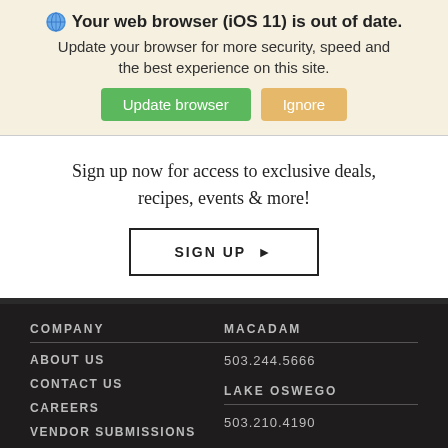Your web browser (iOS 11) is out of date. Update your browser for more security, speed and the best experience on this site. [Update browser] [Ignore]
Sign up now for access to exclusive deals, recipes, events & more!
SIGN UP →
COMPANY
ABOUT US
CONTACT US
CAREERS
VENDOR SUBMISSIONS
MACADAM
503.244.5666
LAKE OSWEGO
503.210.4190